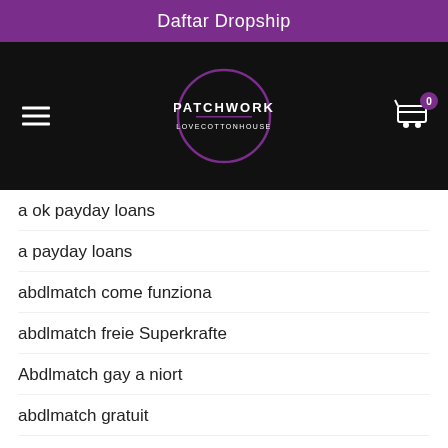Daftar Dropship
[Figure (logo): Patchwork Lovecottonhouse logo - circular purple outlined logo on black background with hamburger menu on left and shopping cart with badge '0' on right]
a ok payday loans
a payday loans
abdlmatch come funziona
abdlmatch freie Superkrafte
Abdlmatch gay a niort
abdlmatch gratuit
Abdlmatch rencontre geekB avis
abdlmatch reviews